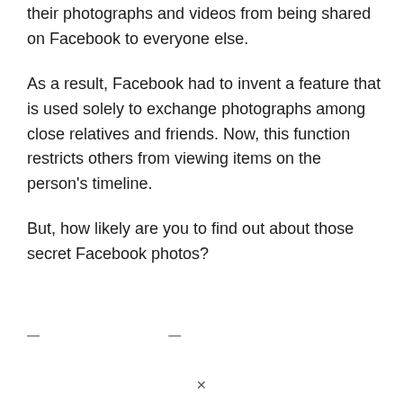their photographs and videos from being shared on Facebook to everyone else.
As a result, Facebook had to invent a feature that is used solely to exchange photographs among close relatives and friends. Now, this function restricts others from viewing items on the person's timeline.
But, how likely are you to find out about those secret Facebook photos?
—.                    —.